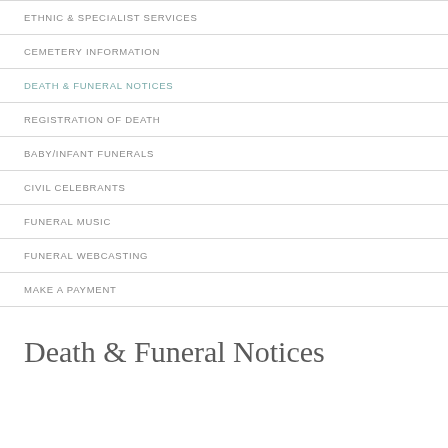ETHNIC & SPECIALIST SERVICES
CEMETERY INFORMATION
DEATH & FUNERAL NOTICES
REGISTRATION OF DEATH
BABY/INFANT FUNERALS
CIVIL CELEBRANTS
FUNERAL MUSIC
FUNERAL WEBCASTING
MAKE A PAYMENT
Death & Funeral Notices